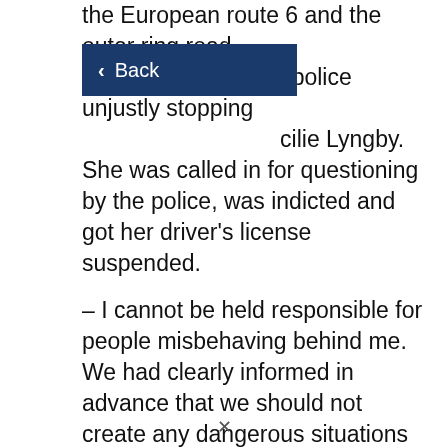the European route 6 and the outer ring road in the police unjustly stopping cilie Lyngby. She was called in for questioning by the police, was indicted and got her driver's license suspended.
[Figure (screenshot): Dark blue navigation back button with left arrow and 'Back' text in white]
– I cannot be held responsible for people misbehaving behind me. We had clearly informed in advance that we should not create any dangerous situations and that we should let ambulances and other emergency vehicles pass unhindered. But when there are so many who attend, there are always some idiots that don't comply, Lyngby told Dagsavisen last week. It later became apparent that an ambulance was